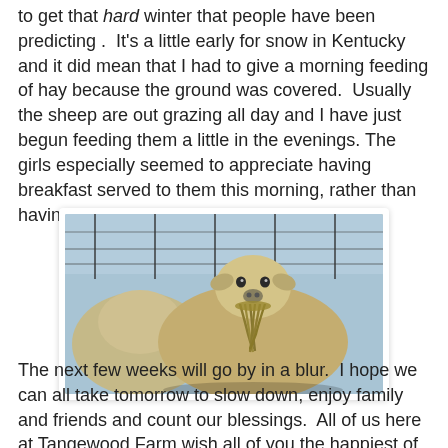to get that hard winter that people have been predicting .  It's a little early for snow in Kentucky and it did mean that I had to give a morning feeding of hay because the ground was covered.  Usually the sheep are out grazing all day and I have just begun feeding them a little in the evenings. The girls especially seemed to appreciate having breakfast served to them this morning, rather than having to find it for themselves.
[Figure (photo): A sheep facing the camera, eating a mouthful of hay, with other sheep visible and a wire fence in a snowy background.]
The next few weeks will go by in a blur.  I hope we can all take tomorrow to slow down, enjoy family and friends and count our blessings.  All of us here at Tangewood Farm wish all of you the happiest of Thanksgivings.  May your day be